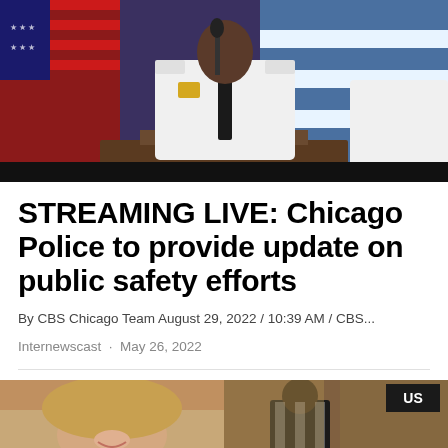[Figure (photo): Police officer in white uniform speaking at a podium with microphone, American flag and Chicago flag visible in background]
STREAMING LIVE: Chicago Police to provide update on public safety efforts
By CBS Chicago Team August 29, 2022 / 10:39 AM / CBS...
Internewscast · May 26, 2022
[Figure (photo): Two-panel image: left shows smiling young woman, right shows sports referee or player, with US badge overlay]